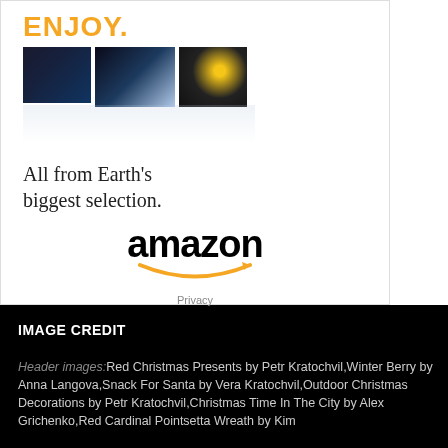[Figure (advertisement): Amazon advertisement with 'ENJOY.' in orange, movie cover thumbnails, text 'All from Earth's biggest selection.', Amazon logo with arrow, and Privacy link at bottom.]
IMAGE CREDIT
Header images: Red Christmas Presents by Petr Kratochvil, Winter Berry by Anna Langova, Snack For Santa by Vera Kratochvil, Outdoor Christmas Decorations by Petr Kratochvil, Christmas Time In The City by Alex Grichenko, Red Cardinal Pointsetta Wreath by Kim